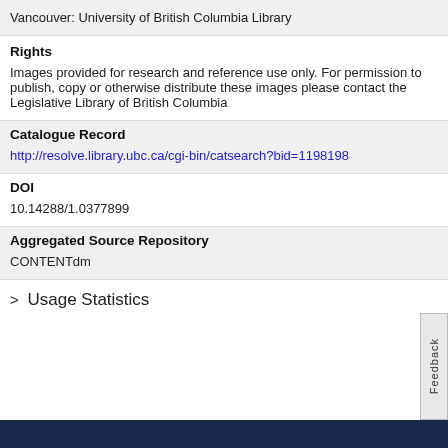Vancouver: University of British Columbia Library
Rights
Images provided for research and reference use only. For permission to publish, copy or otherwise distribute these images please contact the Legislative Library of British Columbia
Catalogue Record
http://resolve.library.ubc.ca/cgi-bin/catsearch?bid=1198198
DOI
10.14288/1.0377899
Aggregated Source Repository
CONTENTdm
> Usage Statistics